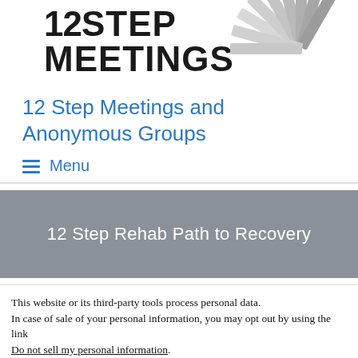[Figure (logo): 12 Step Meetings logo with staircase graphic and bold text reading 12STEP MEETINGS]
12 Step Meetings and Anonymous Groups
Menu
12 Step Rehab Path to Recovery
This website or its third-party tools process personal data.
In case of sale of your personal information, you may opt out by using the link Do not sell my personal information.